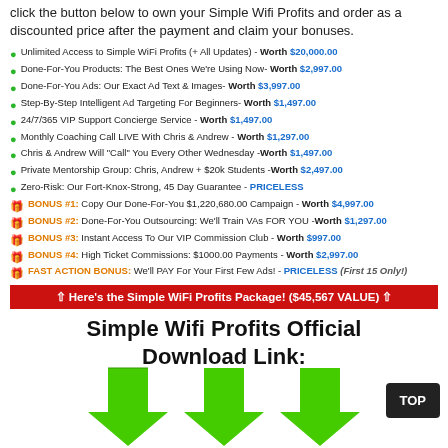click the button below to own your Simple Wifi Profits and order as a discounted price after the payment and claim your bonuses.
Unlimited Access to Simple WiFi Profits (+ All Updates) - Worth $20,000.00
Done-For-You Products: The Best Ones We're Using Now- Worth $2,997.00
Done-For-You Ads: Our Exact Ad Text & Images- Worth $3,997.00
Step-By-Step Intelligent Ad Targeting For Beginners- Worth $1,497.00
24/7/365 VIP Support Concierge Service - Worth $1,497.00
Monthly Coaching Call LIVE With Chris & Andrew - Worth $1,297.00
Chris & Andrew Will "Call" You Every Other Wednesday - Worth $1,497.00
Private Mentorship Group: Chris, Andrew + $20k Students - Worth $2,497.00
Zero-Risk: Our Fort-Knox-Strong, 45 Day Guarantee - PRICELESS
BONUS #1: Copy Our Done-For-You $1,220,680.00 Campaign - Worth $4,997.00
BONUS #2: Done-For-You Outsourcing: We'll Train VAs FOR YOU - Worth $1,297.00
BONUS #3: Instant Access To Our VIP Commission Club - Worth $997.00
BONUS #4: High Ticket Commissions: $1000.00 Payments - Worth $2,997.00
FAST ACTION BONUS: We'll PAY For Your First Few Ads! - PRICELESS (First 15 Only!)
Here's the Simple WiFi Profits Package! ($45,567 VALUE)
Simple Wifi Profits Official Download Link:
[Figure (illustration): Three large green downward-pointing arrows side by side]